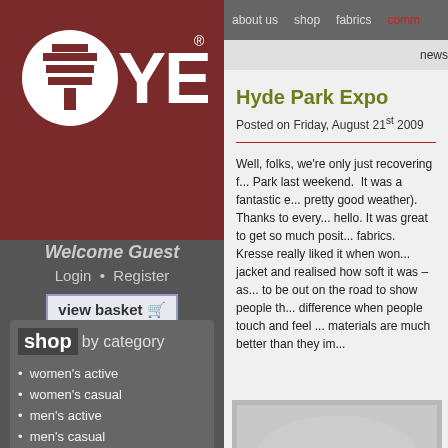[Figure (logo): YEW logo - white tree icon in circle on dark red background with large white YEW text]
Welcome Guest
Login • Register
view basket 🛒
shop by category
women's active
women's casual
men's active
men's casual
accessories
Special Offers
about us   shop   fabrics   comm
news
Hyde Park Expo
Posted on Friday, August 21st 2009
Well, folks, we're only just recovering from the Expo at Hyde Park last weekend.  It was a fantastic e... pretty good weather).  Thanks to every... hello. It was great to get so much posit... fabrics. Kresse really liked it when won... jacket and realised how soft it was – as... to be out on the road to show people th... difference when people touch and feel ... materials are much better than they im...
[Figure (photo): Outdoor event photo, partially visible at bottom of page]